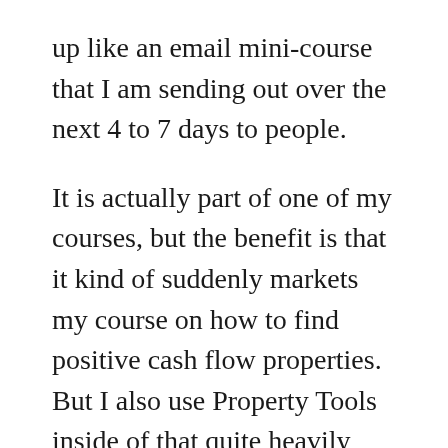up like an email mini-course that I am sending out over the next 4 to 7 days to people.
It is actually part of one of my courses, but the benefit is that it kind of suddenly markets my course on how to find positive cash flow properties. But I also use Property Tools inside of that quite heavily and so it markets Property Tools. And really, what I want to find out by sending this out to my list is can I create videos that use Property Tools, will that